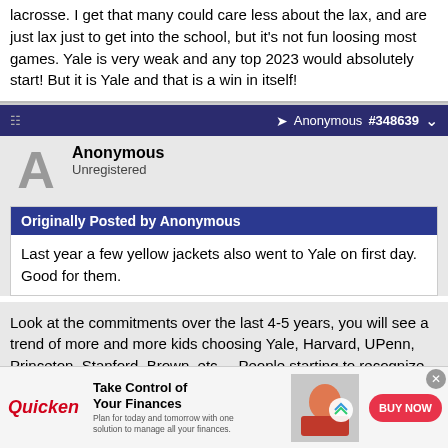lacrosse. I get that many could care less about the lax, and are just lax just to get into the school, but it's not fun loosing most games. Yale is very weak and any top 2023 would absolutely start! But it is Yale and that is a win in itself!
Anonymous #348639
Anonymous
Unregistered
Originally Posted by Anonymous
Last year a few yellow jackets also went to Yale on first day. Good for them.
Look at the commitments over the last 4-5 years, you will see a trend of more and more kids choosing Yale, Harvard, UPenn, Princeton, Stanford, Brown, etc.... People starting to recognize the rest of these
[Figure (screenshot): Quicken advertisement banner: Take Control of Your Finances - Plan for today and tomorrow with one solution to manage all your finances. BUY NOW button, woman with laptop image.]